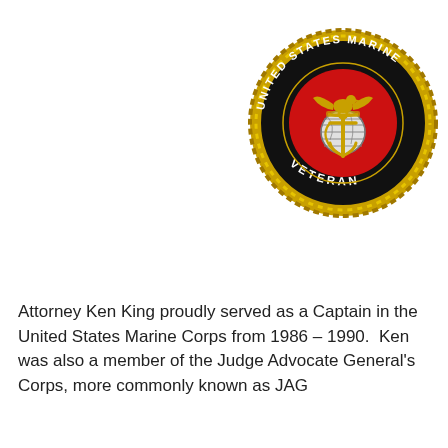[Figure (logo): United States Marine Corps Veteran emblem: circular black badge with gold rope border, red center circle containing the Eagle Globe and Anchor insignia in gold and silver, white text reading UNITED STATES MARINE on the upper arc and VETERAN on the lower arc.]
Attorney Ken King proudly served as a Captain in the United States Marine Corps from 1986 – 1990.  Ken was also a member of the Judge Advocate General's Corps, more commonly known as JAG